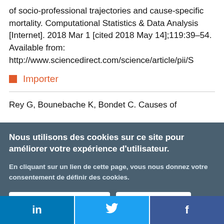of socio-professional trajectories and cause-specific mortality. Computational Statistics & Data Analysis [Internet]. 2018 Mar 1 [cited 2018 May 14];119:39–54. Available from: http://www.sciencedirect.com/science/article/pii/S
Importer
Rey G, Bounebache K, Bondet C. Causes of
Nous utilisons des cookies sur ce site pour améliorer votre expérience d'utilisateur.

En cliquant sur un lien de cette page, vous nous donnez votre consentement de définir des cookies.

Oui, je suis d'accord   Plus d'infos
in   [Twitter bird]   f